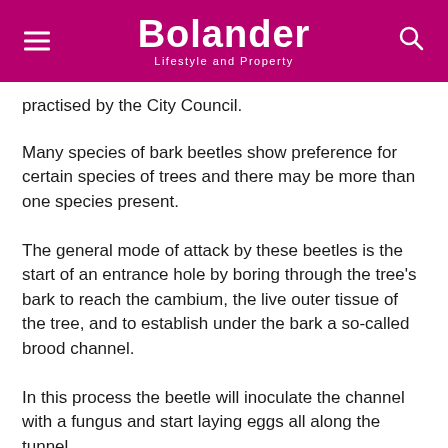Bolander — Lifestyle and Property
practised by the City Council.
Many species of bark beetles show preference for certain species of trees and there may be more than one species present.
The general mode of attack by these beetles is the start of an entrance hole by boring through the tree's bark to reach the cambium, the live outer tissue of the tree, and to establish under the bark a so-called brood channel.
In this process the beetle will inoculate the channel with a fungus and start laying eggs all along the tunnel.
The fungus will grow and provide food for the emerging larvae who, while feeding, at the same time will create radially